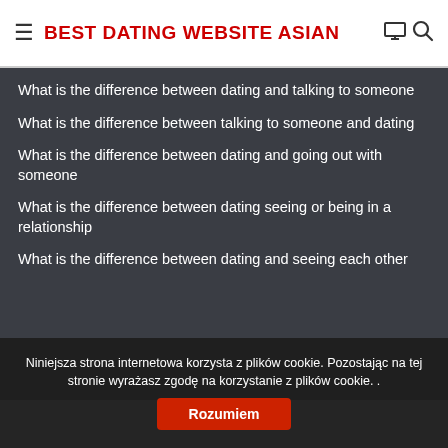BEST DATING WEBSITE ASIAN
What is the difference between dating and talking to someone
What is the difference between talking to someone and dating
What is the difference between dating and going out with someone
What is the difference between dating seeing or being in a relationship
What is the difference between dating and seeing each other
Niniejsza strona internetowa korzysta z plików cookie. Pozostając na tej stronie wyrażasz zgodę na korzystanie z plików cookie. . Rozumiem